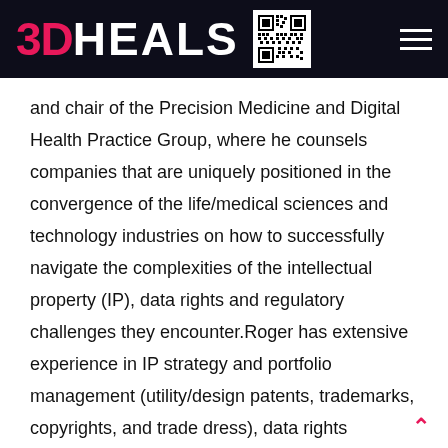3DHEALS
and chair of the Precision Medicine and Digital Health Practice Group, where he counsels companies that are uniquely positioned in the convergence of the life/medical sciences and technology industries on how to successfully navigate the complexities of the intellectual property (IP), data rights and regulatory challenges they encounter.Roger has extensive experience in IP strategy and portfolio management (utility/design patents, trademarks, copyrights, and trade dress), data rights strategy, licensing and technology transactions, freedom to operate clearances